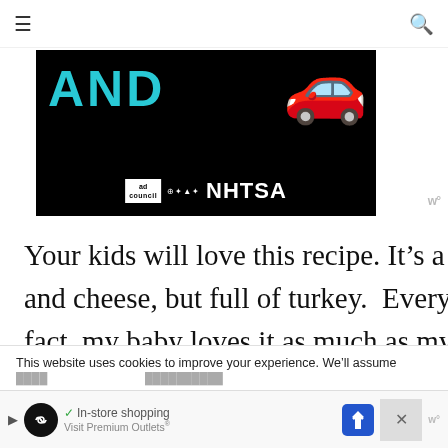≡  🔍
[Figure (photo): Advertisement banner with black background showing 'AND' text in teal/cyan color and a red car emoji, with Ad Council and NHTSA logos at bottom]
Your kids will love this recipe. It's a little reminiscent of creamy mac and cheese, but full of turkey.  Everybody who tries it, loves it.  In fact, my baby loves it as much as my big kids.
WHAT'S NEXT → Cowboy Brisket...
This website uses cookies to improve your experience. We'll assume
[Figure (screenshot): Bottom advertisement banner for Premium Outlets showing In-store shopping with navigation arrow icon]